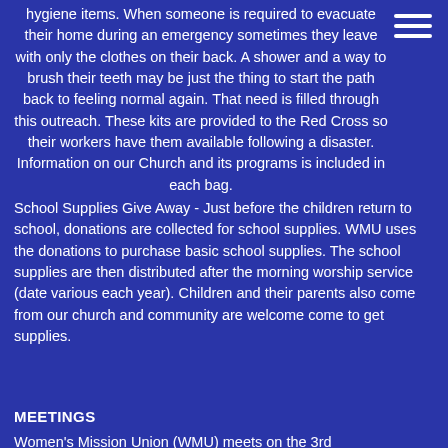hygiene items. When someone is required to evacuate their home during an emergency sometimes they leave with only the clothes on their back. A shower and a way to brush their teeth may be just the thing to start the path back to feeling normal again. That need is filled through this outreach. These kits are provided to the Red Cross so their workers have them available following a disaster. Information on our Church and its programs is included in each bag.
School Supplies Give Away - Just before the children return to school, donations are collected for school supplies. WMU uses the donations to purchase basic school supplies. The school supplies are then distributed after the morning worship service (date various each year). Children and their parents also come from our church and community are welcome come to get supplies.
MEETINGS
Women's Mission Union (WMU) meets on the 3rd...